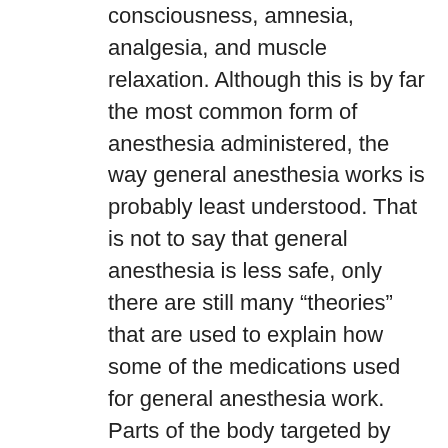consciousness, amnesia, analgesia, and muscle relaxation. Although this is by far the most common form of anesthesia administered, the way general anesthesia works is probably least understood. That is not to say that general anesthesia is less safe, only there are still many “theories” that are used to explain how some of the medications used for general anesthesia work. Parts of the body targeted by medications used for general anesthesia include the brain, spinal cord (central nervous system), peripheral nerves (to a lesser extent than other types of anesthesia – see below), the upper airway/lungs, muscles, and the heart/blood vessels.
Medications used for this type of anesthesia